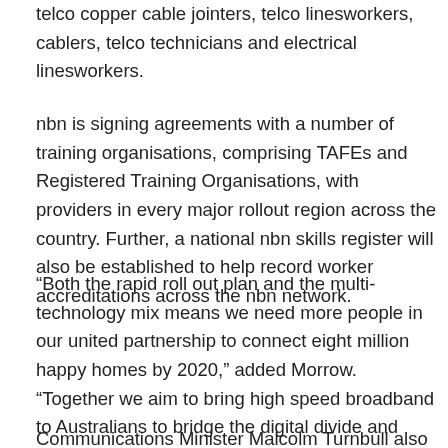telco copper cable jointers, telco linesworkers, cablers, telco technicians and electrical linesworkers.
nbn is signing agreements with a number of training organisations, comprising TAFEs and Registered Training Organisations, with providers in every major rollout region across the country. Further, a national nbn skills register will also be established to help record worker accreditations across the nbn network.
“Both the rapid roll out plan and the multi-technology mix means we need more people in our united partnership to connect eight million happy homes by 2020,” added Morrow. “Together we aim to bring high speed broadband to Australians to bridge the digital divide and create new opportunities for business, health, education and entertainment.”
Communications Minister Malcolm Turnbull also hailed the